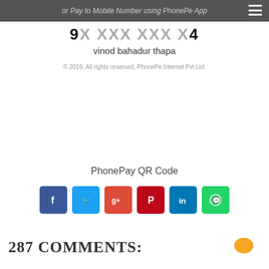or Pay to Mobile Number using PhonePe App
9X XXX XXX X4
vinod bahadur thapa
© 2019, All rights reserved, PhonePe Internet Pvt Ltd.
PhonePay QR Code
[Figure (other): Social media share buttons: Facebook, Twitter, Google+, Pinterest, LinkedIn, WhatsApp]
287 COMMENTS: